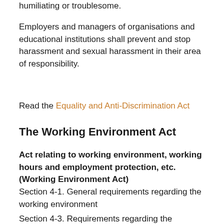humiliating or troublesome.
Employers and managers of organisations and educational institutions shall prevent and stop harassment and sexual harassment in their area of responsibility.
Read the Equality and Anti-Discrimination Act
The Working Environment Act
Act relating to working environment, working hours and employment protection, etc. (Working Environment Act)
Section 4-1. General requirements regarding the working environment
Section 4-3. Requirements regarding the psychosocial